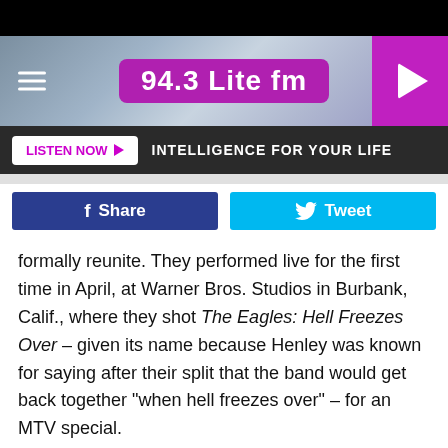[Figure (screenshot): 94.3 Lite FM radio station website header banner with hamburger menu icon on left, station logo in center on purple background, and play button on right magenta panel]
LISTEN NOW ▶   INTELLIGENCE FOR YOUR LIFE
[Figure (screenshot): Facebook Share button (dark blue) and Twitter Tweet button (light blue)]
formally reunite. They performed live for the first time in April, at Warner Bros. Studios in Burbank, Calif., where they shot The Eagles: Hell Freezes Over – given its name because Henley was known for saying after their split that the band would get back together "when hell freezes over" – for an MTV special.
After beginning their Hell Freezes Over Tour, the Eagles spent most of the next two years on the trek, performing some of